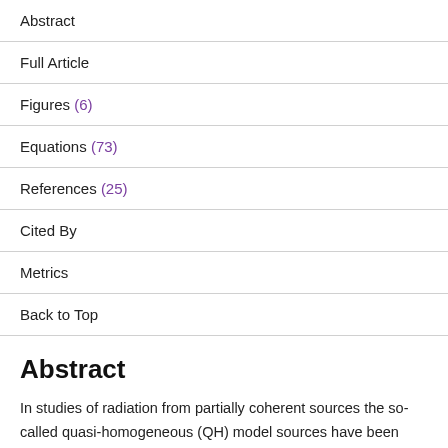Abstract
Full Article
Figures (6)
Equations (73)
References (25)
Cited By
Metrics
Back to Top
Abstract
In studies of radiation from partially coherent sources the so-called quasi-homogeneous (QH) model sources have been very useful, for instance in elucidating the behavior of fields produced by thermal sources. The analysis of the fields generated by such sources has, however, been largely carried